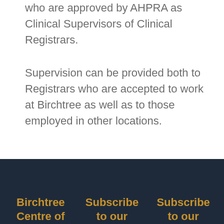who are approved by AHPRA as Clinical Supervisors of Clinical Registrars.
Supervision can be provided both to Registrars who are accepted to work at Birchtree as well as to those employed in other locations.
Birchtree Centre of | Subscribe to our | Subscribe to our